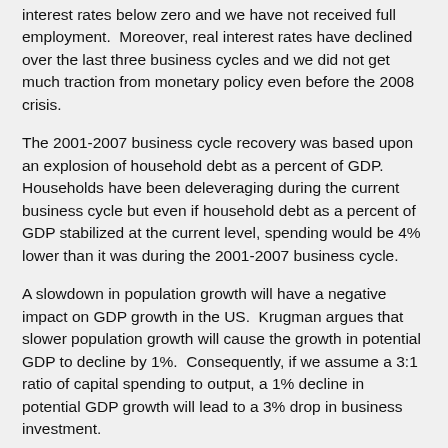interest rates below zero and we have not received full employment.  Moreover, real interest rates have declined over the last three business cycles and we did not get much traction from monetary policy even before the 2008 crisis.
The 2001-2007 business cycle recovery was based upon an explosion of household debt as a percent of GDP.  Households have been deleveraging during the current business cycle but even if household debt as a percent of GDP stabilized at the current level, spending would be 4% lower than it was during the 2001-2007 business cycle.
A slowdown in population growth will have a negative impact on GDP growth in the US.  Krugman argues that slower population growth will cause the growth in potential GDP to decline by 1%.  Consequently, if we assume a 3:1 ratio of capital spending to output, a 1% decline in potential GDP growth will lead to a 3% drop in business investment.
If  we add up the effect of a 4% decline in spending due to stabilizing household debt to GDP at the current level, and a 3% drop in business investment in response to a 1% decline in the growth of potential GDP, the US economy is faced